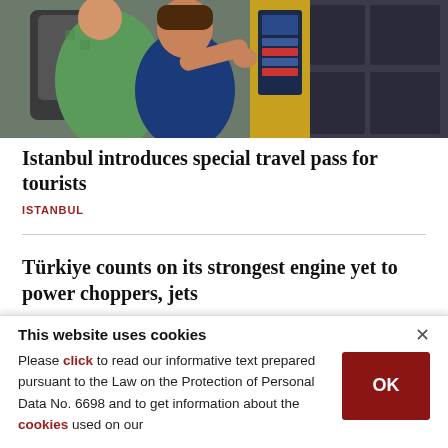[Figure (photo): Two tourists at a transit ticket vending machine, one wearing a green shirt with a large backpack, one in a blue shirt using the touch screen. Yellow frame kiosk visible.]
Istanbul introduces special travel pass for tourists
ISTANBUL
Türkiye counts on its strongest engine yet to power choppers, jets
ENGINE-PRODUCTION
This website uses cookies
Please click to read our informative text prepared pursuant to the Law on the Protection of Personal Data No. 6698 and to get information about the cookies used on our